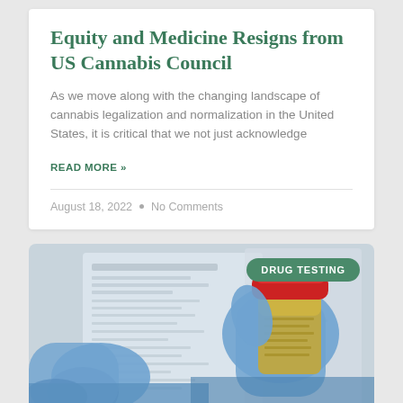Equity and Medicine Resigns from US Cannabis Council
As we move along with the changing landscape of cannabis legalization and normalization in the United States, it is critical that we not just acknowledge
READ MORE »
August 18, 2022 • No Comments
[Figure (photo): Person wearing blue latex gloves holding a urine specimen cup next to a medical form/lab document. Drug testing category badge visible in top right corner.]